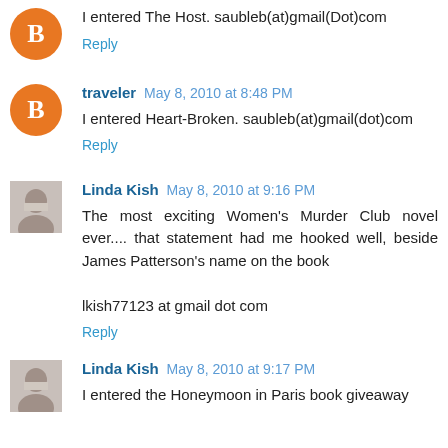I entered The Host. saubleb(at)gmail(Dot)com
Reply
traveler May 8, 2010 at 8:48 PM
I entered Heart-Broken. saubleb(at)gmail(dot)com
Reply
Linda Kish May 8, 2010 at 9:16 PM
The most exciting Women's Murder Club novel ever.... that statement had me hooked well, beside James Patterson's name on the book

lkish77123 at gmail dot com
Reply
Linda Kish May 8, 2010 at 9:17 PM
I entered the Honeymoon in Paris book giveaway